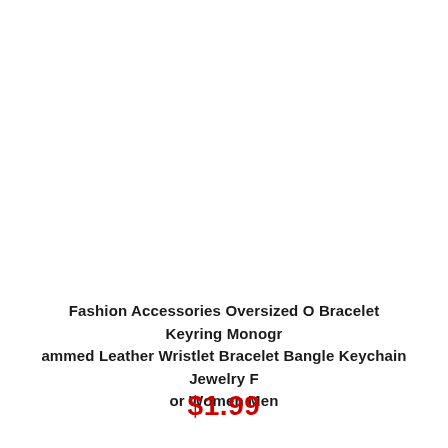Fashion Accessories Oversized O Bracelet Keyring Monogrammed Leather Wristlet Bracelet Bangle Keychain Jewelry For Women Men
$1.99